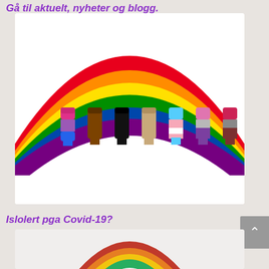Gå til aktuelt, nyheter og blogg.
[Figure (illustration): Rainbow arc with six colored stripes (red, orange, yellow, green, blue, purple) and a row of seven raised fist icons in different styles representing diversity and pride movements]
Islolert pga Covid-19?
[Figure (illustration): Partial rainbow donut/loop illustration in pride colors (red, orange, yellow, green) at bottom of page]